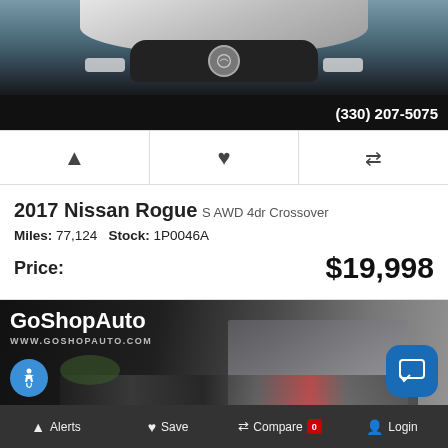[Figure (photo): Front view of a white 2017 Nissan Rogue SUV with phone number (330) 207-5075 overlaid on dark background]
Bell icon | Heart icon | Compare icon
2017 Nissan Rogue S AWD 4dr Crossover
Miles: 77,124   Stock: 1P0046A
Price:  $19,998
[Figure (photo): GoShopAuto dealership banner with building photo, accessibility icon, and chat button. URL: WWW.GOSHOPAUTO.COM]
Alerts   Save   Compare 0   Login